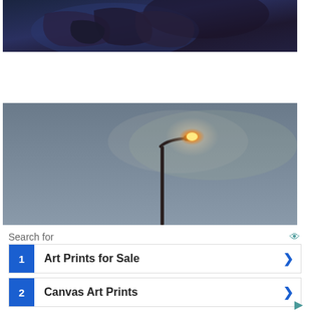[Figure (photo): Close-up dark photo of hands, possibly holding or touching something, with blue and dark tones, leather glove visible]
Image Source
[Figure (photo): Street lamp illuminated with orange glow against a grey-blue dusk sky, lamp post visible below]
Search for
1  Art Prints for Sale
2  Canvas Art Prints